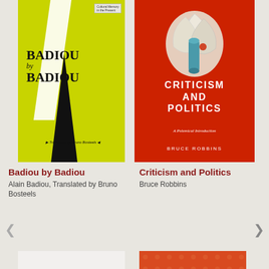[Figure (illustration): Book cover: 'Badiou by Badiou' — yellow-green background with bold black serif title text, diagonal black spike shape, white slash, series labels at top right. Subtitle 'Translated by Bruno Bosteels' in italic.]
[Figure (illustration): Book cover: 'Criticism and Politics: A Polemical Introduction' by Bruce Robbins — red/orange background with paper flower/book art at top, white bold uppercase title text in center, author name at bottom.]
Badiou by Badiou
Alain Badiou, Translated by Bruno Bosteels
Criticism and Politics
Bruce Robbins
[Figure (illustration): Partial book cover at bottom left, cut off — appears to show a dark/purple object on white background.]
[Figure (illustration): Partial book cover at bottom right, cut off — orange/red background with dot pattern or texture.]